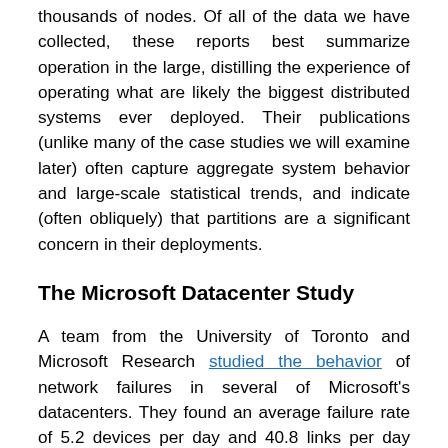thousands of nodes. Of all of the data we have collected, these reports best summarize operation in the large, distilling the experience of operating what are likely the biggest distributed systems ever deployed. Their publications (unlike many of the case studies we will examine later) often capture aggregate system behavior and large-scale statistical trends, and indicate (often obliquely) that partitions are a significant concern in their deployments.
The Microsoft Datacenter Study
A team from the University of Toronto and Microsoft Research studied the behavior of network failures in several of Microsoft's datacenters. They found an average failure rate of 5.2 devices per day and 40.8 links per day with a median time to repair of approximately five minutes (and up to one week).